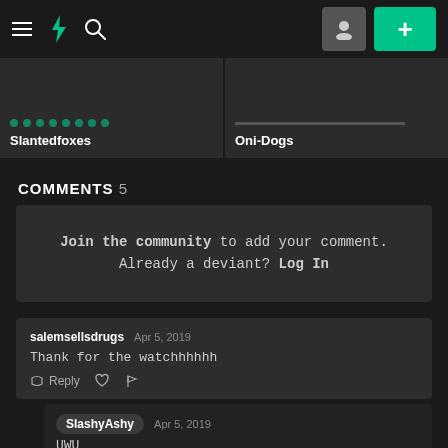DeviantArt navigation bar with hamburger menu, DA logo, search icon, user icon button, and + button
[Figure (screenshot): Gallery row showing two items: 'Slantedfoxes' and 'Oni-Dogs' with dotted pattern thumbnails on dark background]
COMMENTS 5
Join the community to add your comment. Already a deviant? Log In
salemsellsdrugs  Apr 5, 2019
Thank for the watchhhhhh
Reply
SlashyAshy  Apr 5, 2019
UWU